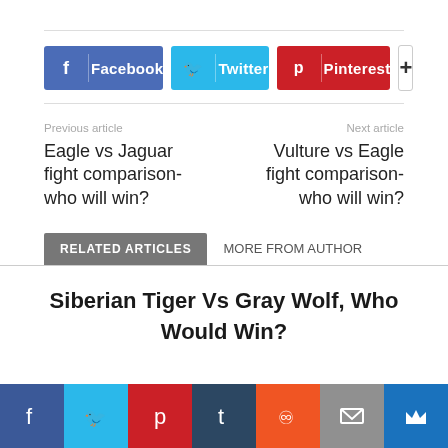[Figure (infographic): Social share buttons: Facebook (blue), Twitter (cyan), Pinterest (red), and a + more button]
Previous article
Eagle vs Jaguar fight comparison- who will win?
Next article
Vulture vs Eagle fight comparison- who will win?
RELATED ARTICLES
MORE FROM AUTHOR
Siberian Tiger Vs Gray Wolf, Who Would Win?
[Figure (infographic): Bottom social media icon bar: Facebook, Twitter, Pinterest, Tumblr, Reddit, Email, Crown]